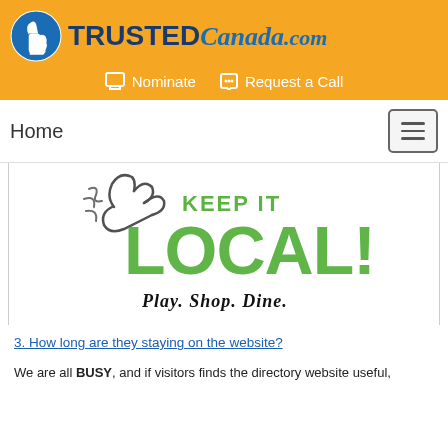[Figure (logo): TrustedCanada.com logo with blue thumbs-up icon and text]
Nominate   Request a Call
Home
[Figure (illustration): Keep it LOCAL! Play. Shop. Dine. promotional image with large green distressed text and a hand illustration]
3. How long are they staying on the website?
We are all BUSY, and if visitors finds the directory website useful,